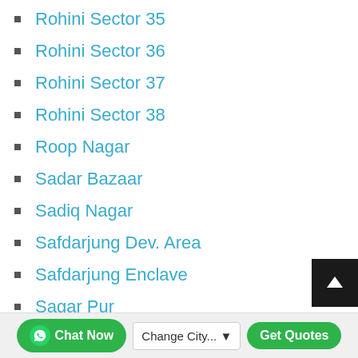Rohini Sector 35
Rohini Sector 36
Rohini Sector 37
Rohini Sector 38
Roop Nagar
Sadar Bazaar
Sadiq Nagar
Safdarjung Dev. Area
Safdarjung Enclave
Sagar Pur
Sainik Farm
Saket
Chat Now  Change City...  Get Quotes